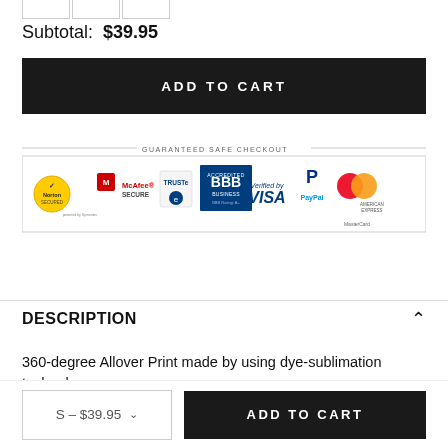Subtotal: $39.95
ADD TO CART
[Figure (infographic): Guaranteed Safe Checkout banner with security logos: Norton Secured, McAfee Secure, TRUSTe, BBB Accredited Business (Rating: A+), Verified by VISA, PayPal, MasterCard, American Express]
DESCRIPTION
360-degree Allover Print made by using dye-sublimation technology
S - $39.95 ∨
ADD TO CART